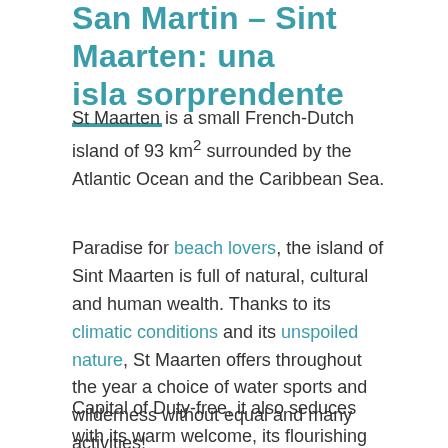San Martin – Sint Maarten: una isla sorprendente
St Maarten is a small French-Dutch island of 93 km² surrounded by the Atlantic Ocean and the Caribbean Sea.
Paradise for beach lovers, the island of Sint Maarten is full of natural, cultural and human wealth. Thanks to its climatic conditions and its unspoiled nature, St Maarten offers throughout the year a choice of water sports and wilderness without equal and many activities!
Capital of Duty-free, it also seduces with its warm welcome, its flourishing gastronomy and its lively